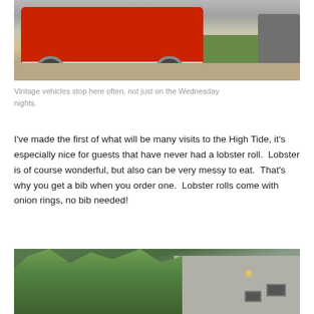[Figure (photo): A vintage red pickup truck parked on a gravel lot, viewed from the front. Another vehicle is visible to the right. Green grass is in the background.]
Vintage vehicles stop here often, not just on the Wednesday nights.
I've made the first of what will be many visits to the High Tide, it's especially nice for guests that have never had a lobster roll.  Lobster is of course wonderful, but also can be very messy to eat.  That's why you get a bib when you order one.  Lobster rolls come with onion rings, no bib needed!
[Figure (photo): A building with grey siding and roof vents, surrounded by green trees.]